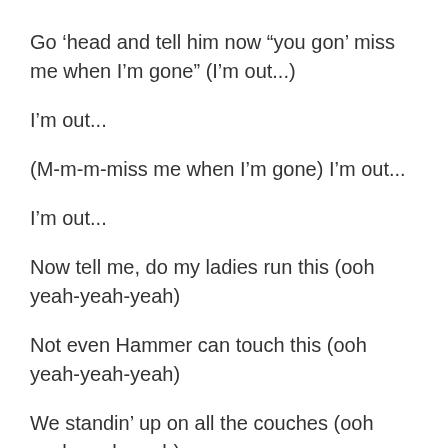Go ‘head and tell him now “you gon’ miss me when I’m gone” (I’m out...)
I’m out...
(M-m-m-miss me when I’m gone) I’m out...
I’m out...
Now tell me, do my ladies run this (ooh yeah-yeah-yeah)
Not even Hammer can touch this (ooh yeah-yeah-yeah)
We standin’ up on all the couches (ooh yeah-yeah-yeah)